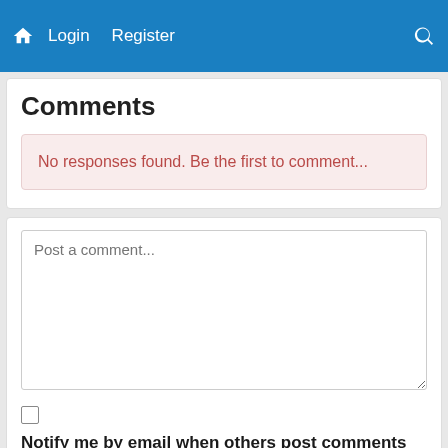Home  Login  Register  [search]
Comments
No responses found. Be the first to comment...
[Figure (screenshot): Comment text area with placeholder text 'Post a comment...']
Notify me by email when others post comments to this article.
Do not include your name, "with regards" etc in the